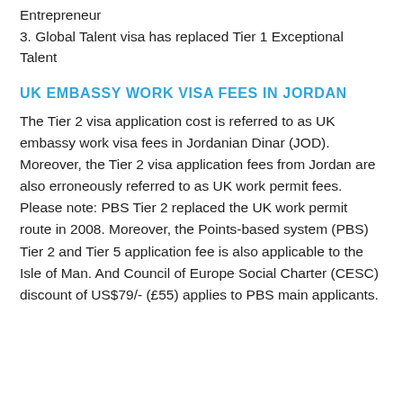Entrepreneur
3. Global Talent visa has replaced Tier 1 Exceptional Talent
UK EMBASSY WORK VISA FEES IN JORDAN
The Tier 2 visa application cost is referred to as UK embassy work visa fees in Jordanian Dinar (JOD). Moreover, the Tier 2 visa application fees from Jordan are also erroneously referred to as UK work permit fees. Please note: PBS Tier 2 replaced the UK work permit route in 2008. Moreover, the Points-based system (PBS) Tier 2 and Tier 5 application fee is also applicable to the Isle of Man. And Council of Europe Social Charter (CESC) discount of US$79/- (£55) applies to PBS main applicants.